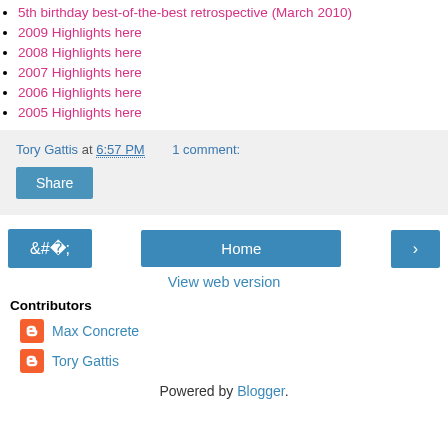5th birthday best-of-the-best retrospective (March 2010)
2009 Highlights here
2008 Highlights here
2007 Highlights here
2006 Highlights here
2005 Highlights here
Tory Gattis at 6:57 PM    1 comment:
Share
Home
View web version
Contributors
Max Concrete
Tory Gattis
Powered by Blogger.